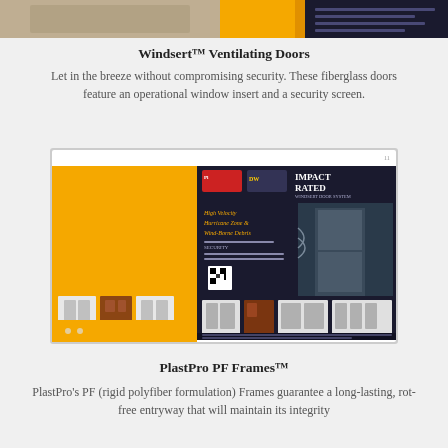[Figure (photo): Top strip showing a partial door product brochure image with yellow and dark background]
Windsert™ Ventilating Doors
Let in the breeze without compromising security. These fiberglass doors feature an operational window insert and a security screen.
[Figure (photo): Product brochure for Impact Rated Windsert Door System - shows High Velocity Hurricane Zone & Wind-Borne Debris rated door system with images of various door styles in white and brown finishes]
PlastPro PF Frames™
PlastPro's PF (rigid polyfiber formulation) Frames guarantee a long-lasting, rot-free entryway that will maintain its integrity